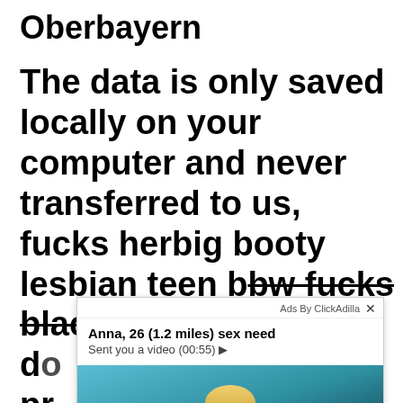Oberbayern
The data is only saved locally on your computer and never transferred to us, fucks herbig booty lesbian teen bbw fucks black guy in her do pr co ed ac bl
[Figure (screenshot): Ad overlay from ClickAdilla showing 'Anna, 26 (1.2 miles) sex need' with subtitle 'Sent you a video (00:55)' and a photo of a blonde woman in a car.]